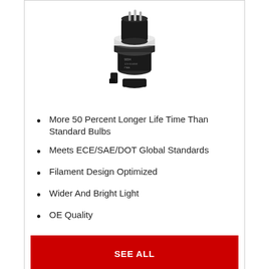[Figure (photo): Product photo of a black automotive light bulb/socket component viewed from above]
More 50 Percent Longer Life Time Than Standard Bulbs
Meets ECE/SAE/DOT Global Standards
Filament Design Optimized
Wider And Bright Light
OE Quality
SEE ALL
PIAA
9004/HB1 Xtreme White Hybrid Bulb